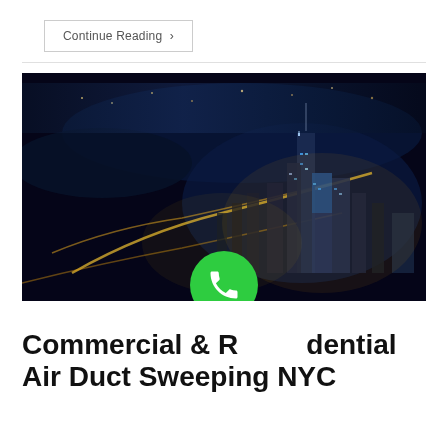Continue Reading ›
[Figure (photo): Aerial night view of Manhattan, New York City skyline with illuminated skyscrapers, highways, and rivers visible from above]
Commercial & Residential Air Duct Sweeping NYC